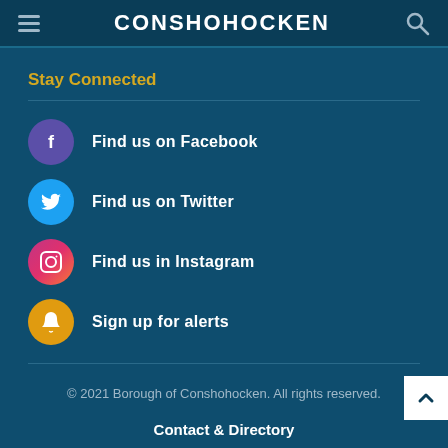CONSHOHOCKEN
Stay Connected
Find us on Facebook
Find us on Twitter
Find us in Instagram
Sign up for alerts
© 2021 Borough of Conshohocken. All rights reserved.
Contact & Directory
Site Map